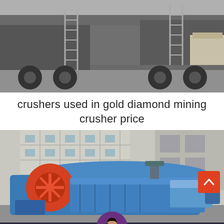[Figure (photo): Industrial mining crushers/machinery loaded on a truck flatbed, shot from ground level showing side of the vehicle with metal staircases/ladders and equipment in a warehouse/outdoor setting.]
crushers used in gold diamond mining crusher price
[Figure (photo): Large blue industrial crusher machine (roll crusher or hammer mill) sitting outside in front of a factory building with grid-pattern windows. Machine has a prominent red circular fan/flywheel on the left side and blue metal housing.]
Leave Message
Chat Online